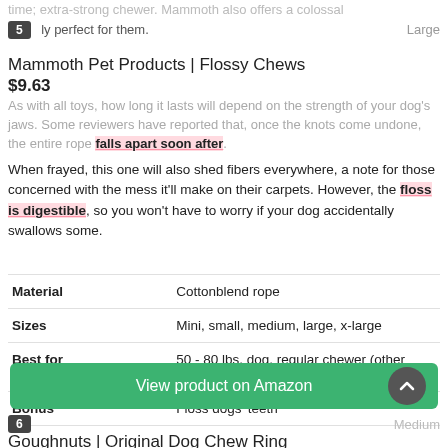time; extra-strong chewer. Mammoth also offers a colossal size, perfect for them.
5  Large
Mammoth Pet Products | Flossy Chews
$9.63
As with all toys, how long it lasts will depend on the strength of your dog's jaws. Some reviewers have reported that, once the knots come undone, the entire rope falls apart soon after.
When frayed, this one will also shed fibers everywhere, a note for those concerned with the mess it'll make on their carpets. However, the floss is digestible, so you won't have to worry if your dog accidentally swallows some.
| Property | Value |
| --- | --- |
| Material | Cottonblend rope |
| Sizes | Mini, small, medium, large, x-large |
| Best for | 50 - 80 lbs. dog, regular chewer (other sizes available) |
| Bonus | Floss dogs' teeth |
View product on Amazon
6  Medium
Goughnuts | Original Dog Chew Ring